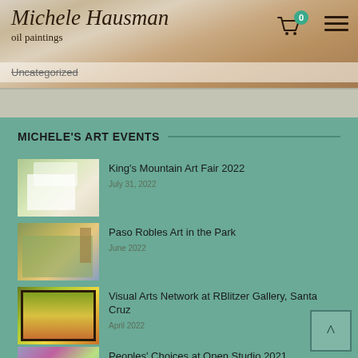Michele Hausman oil paintings
Uncategorized
MICHELE'S ART EVENTS
[Figure (photo): Thumbnail of art fair booth with tent and paintings]
King's Mountain Art Fair 2022
[Figure (photo): Thumbnail of landscape painting with building and palm tree]
Paso Robles Art in the Park
[Figure (photo): Thumbnail of framed painting showing yellow fields]
Visual Arts Network at RBlitzer Gallery, Santa Cruz
[Figure (photo): Thumbnail of landscape painting with purple flowers]
Peoples’ Choices at Open Studio 2021